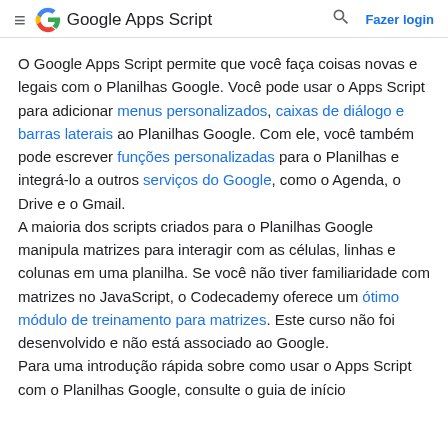≡ Google Apps Script 🔍 Fazer login
O Google Apps Script permite que você faça coisas novas e legais com o Planilhas Google. Você pode usar o Apps Script para adicionar menus personalizados, caixas de diálogo e barras laterais ao Planilhas Google. Com ele, você também pode escrever funções personalizadas para o Planilhas e integrá-lo a outros serviços do Google, como o Agenda, o Drive e o Gmail.
A maioria dos scripts criados para o Planilhas Google manipula matrizes para interagir com as células, linhas e colunas em uma planilha. Se você não tiver familiaridade com matrizes no JavaScript, o Codecademy oferece um ótimo módulo de treinamento para matrizes. Este curso não foi desenvolvido e não está associado ao Google.
Para uma introdução rápida sobre como usar o Apps Script com o Planilhas Google, consulte o guia de início